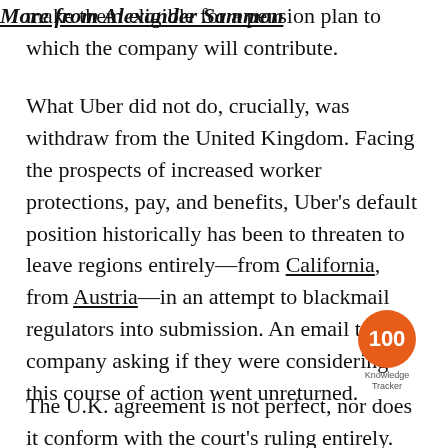make them eligible for a pension plan to which the company will contribute.
What Uber did not do, crucially, was withdraw from the United Kingdom. Facing the prospects of increased worker protections, pay, and benefits, Uber’s default position historically has been to threaten to leave regions entirely—from California, from Austria—in an attempt to blackmail regulators into submission. An email to the company asking if they were considering this course of action went unreturned.
[Figure (other): Orange circular badge with number 100 and text 'Knowledge Tracker' below]
More from Alexander Sammon
The U.K. agreement is not perfect, nor does it conform with the court’s ruling entirely. Uber drivers will still not be paid for any time they’re